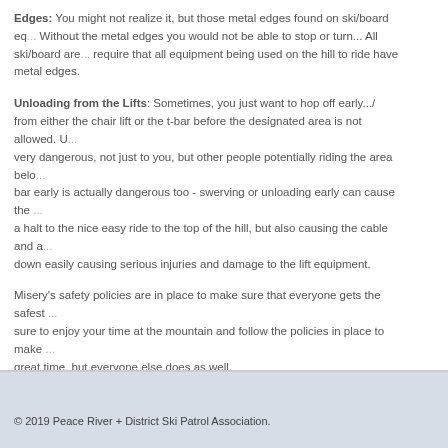Edges: You might not realize it, but those metal edges found on ski/board equipment are crucial. Without the metal edges you would not be able to stop or turn... All ski/board areas require that all equipment being used on the hill to ride have metal edges.
Unloading from the Lifts: Sometimes, you just want to hop off early.... from either the chair lift or the t-bar before the designated area is not allowed. Unloading early is very dangerous, not just to you, but other people potentially riding the area below. Raising the t-bar early is actually dangerous too - swerving or unloading early can cause the cable to come to a halt to the nice easy ride to the top of the hill, but also causing the cable and a fellow rider to come down easily causing serious injuries and damage to the lift equipment.
Misery's safety policies are in place to make sure that everyone gets the safest and most enjoyable experience. Be sure to enjoy your time at the mountain and follow the policies in place to make sure not only you have a great time, but everyone else does as well.
© 2019 Peace River + District Ski Patrol Association.